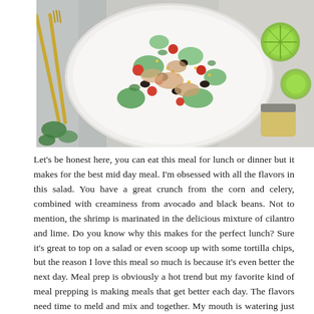[Figure (photo): Overhead photo of a white bowl filled with a colorful shrimp salad containing avocado chunks, black beans, corn, cherry tomatoes, celery and other vegetables. Gold utensils are visible on the left on a grey linen cloth. Lime halves and a small jar of dressing are visible on the right side.]
Let's be honest here, you can eat this meal for lunch or dinner but it makes for the best mid day meal. I'm obsessed with all the flavors in this salad. You have a great crunch from the corn and celery, combined with creaminess from avocado and black beans. Not to mention, the shrimp is marinated in the delicious mixture of cilantro and lime. Do you know why this makes for the perfect lunch? Sure it's great to top on a salad or even scoop up with some tortilla chips, but the reason I love this meal so much is because it's even better the next day. Meal prep is obviously a hot trend but my favorite kind of meal prepping is making meals that get better each day. The flavors need time to meld and mix and together. My mouth is watering just thinking about this meal!